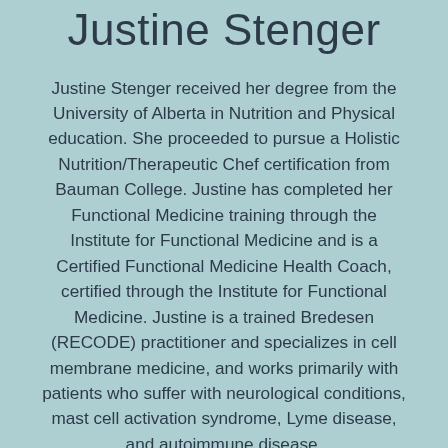Justine Stenger
Justine Stenger received her degree from the University of Alberta in Nutrition and Physical education. She proceeded to pursue a Holistic Nutrition/Therapeutic Chef certification from Bauman College. Justine has completed her Functional Medicine training through the Institute for Functional Medicine and is a Certified Functional Medicine Health Coach, certified through the Institute for Functional Medicine. Justine is a trained Bredesen (RECODE) practitioner and specializes in cell membrane medicine, and works primarily with patients who suffer with neurological conditions, mast cell activation syndrome, Lyme disease, and autoimmune disease.